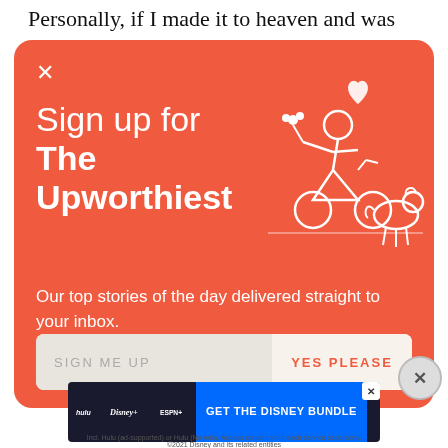Personally, if I made it to heaven and was
[Figure (screenshot): Orange modal popup for newsletter signup: 'Sign up for The Upworthiest' with illustration of person on bicycle with dog and flowers, subtitle 'Our top stories of the day delivered straight to your inbox.' and a sign-me-up input with YES PLEASE button]
[Figure (other): Disney Bundle advertisement banner with Hulu, Disney+, ESPN+ logos and blue 'GET THE DISNEY BUNDLE' button]